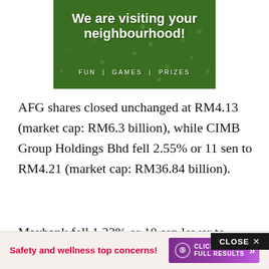[Figure (illustration): Green leafy hedge/bush background with white bold text reading 'We are visiting your neighbourhood!' and 'FUN | GAMES | PRIZES']
AFG shares closed unchanged at RM4.13 (market cap: RM6.3 billion), while CIMB Group Holdings Bhd fell 2.55% or 11 sen to RM4.21 (market cap: RM36.84 billion).
Maybank fell 1.23% or 10 sen lower to RM8.03
[Figure (screenshot): Dark CLOSE button overlay in top right, and bottom advertisement banner with red text 'Safety and wellness top concerns!' and purple 'CLICK TO VIEW FULL RESULTS' button]